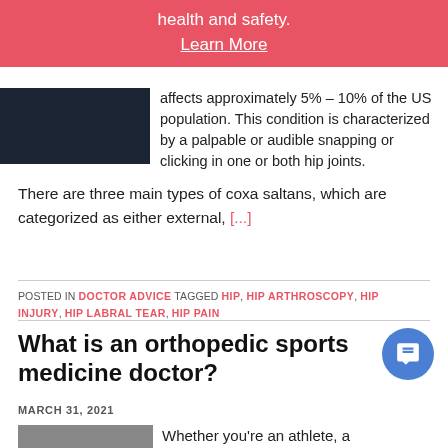health and safety.
Learn More
[Figure (photo): Dark-toned rectangular image, likely a hip or medical photo]
affects approximately 5% – 10% of the US population. This condition is characterized by a palpable or audible snapping or clicking in one or both hip joints.  There are three main types of coxa saltans, which are categorized as either external, [...]
POSTED IN DOCTOR ADVICE TAGGED HIP, HIP ARTHROSCOPY, HIP INJURY, HIP LABRAL TEAR, HIP PAIN
What is an orthopedic sports medicine doctor?
MARCH 31, 2021
[Figure (photo): Partial image visible at bottom of page]
Whether you're an athlete, a